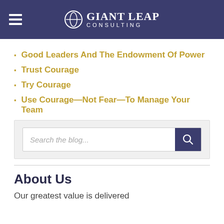Giant Leap Consulting
Good Leaders And The Endowment Of Power
Trust Courage
Try Courage
Use Courage—Not Fear—To Manage Your Team
[Figure (screenshot): Search the blog input box with navy blue search button]
About Us
Our greatest value is delivered